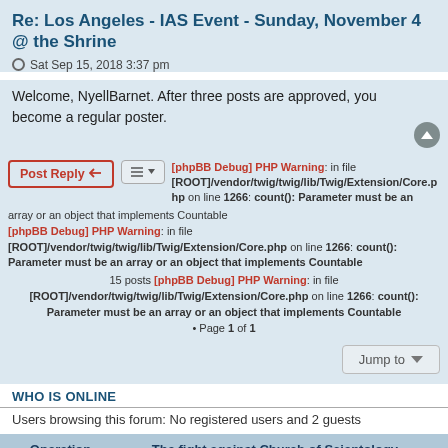Re: Los Angeles - IAS Event - Sunday, November 4 @ the Shrine
Sat Sep 15, 2018 3:37 pm
Welcome, NyellBarnet. After three posts are approved, you become a regular poster.
[phpBB Debug] PHP Warning: in file [ROOT]/vendor/twig/twig/lib/Twig/Extension/Core.php on line 1266: count(): Parameter must be an array or an object that implements Countable
[phpBB Debug] PHP Warning: in file [ROOT]/vendor/twig/twig/lib/Twig/Extension/Core.php on line 1266: count(): Parameter must be an array or an object that implements Countable
15 posts [phpBB Debug] PHP Warning: in file [ROOT]/vendor/twig/twig/lib/Twig/Extension/Core.php on line 1266: count(): Parameter must be an array or an object that implements Countable
• Page 1 of 1
WHO IS ONLINE
Users browsing this forum: No registered users and 2 guests
Operation Clambake · The fight against Church of Scientology on the 'Net.
Powered by phpBB® Forum Software © phpBB Limited